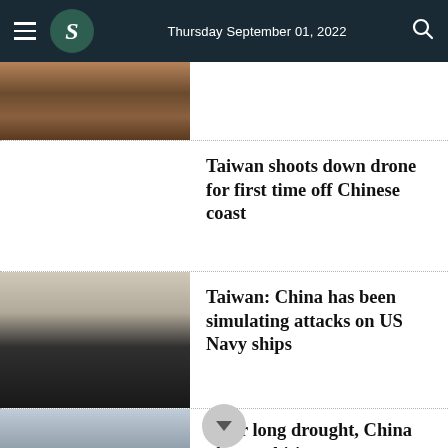Thursday September 01, 2022
[Figure (photo): Aerial or close-up view of buildings, brick and concrete structure]
Taiwan shoots down drone for first time off Chinese coast
[Figure (photo): US Navy aircraft carrier with American flag flying, viewed from another ship]
Taiwan: China has been simulating attacks on US Navy ships
[Figure (photo): City skyline across a river or waterway, hazy atmosphere]
After long drought, China plots ambitious water infrastructure push